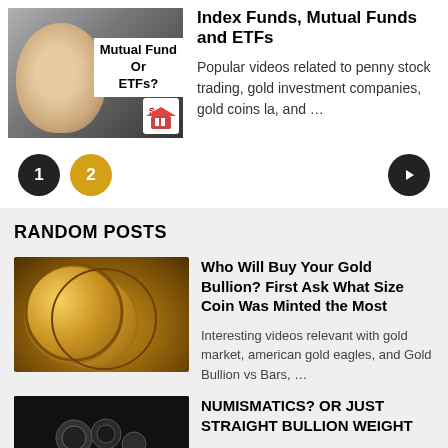[Figure (screenshot): Thumbnail image of a person with text overlay 'Mutual Fund Or ETFs?' and a small logo in the bottom right]
Index Funds, Mutual Funds and ETFs
Popular videos related to penny stock trading, gold investment companies, gold coins la, and …
Pagination: page 1 (active), page 2, next arrow button
RANDOM POSTS
[Figure (photo): Close-up photo of gold coins stacked]
Who Will Buy Your Gold Bullion? First Ask What Size Coin Was Minted the Most
Interesting videos relevant with gold market, american gold eagles, and Gold Bullion vs Bars, …
[Figure (photo): Dark/black thumbnail with small coin-like objects visible]
NUMISMATICS? OR JUST STRAIGHT BULLION WEIGHT